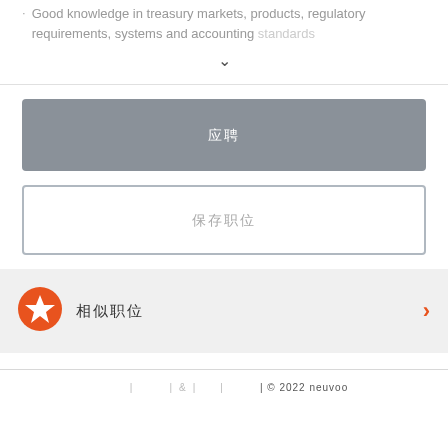Good knowledge in treasury markets, products, regulatory requirements, systems and accounting standards
▾
应聘
保存职位
相似职位
| | & | | © 2022 neuvoo